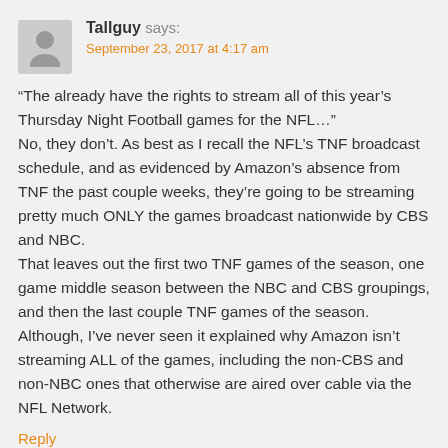Tallguy says:
September 23, 2017 at 4:17 am
“The already have the rights to stream all of this year’s Thursday Night Football games for the NFL…”
No, they don’t. As best as I recall the NFL’s TNF broadcast schedule, and as evidenced by Amazon’s absence from TNF the past couple weeks, they’re going to be streaming pretty much ONLY the games broadcast nationwide by CBS and NBC.
That leaves out the first two TNF games of the season, one game middle season between the NBC and CBS groupings, and then the last couple TNF games of the season. Although, I’ve never seen it explained why Amazon isn’t streaming ALL of the games, including the non-CBS and non-NBC ones that otherwise are aired over cable via the NFL Network.
Reply
Tommy says:
September 23, 2017 at 7:14 am
Sad news about Z and The Last Tycoon, those were